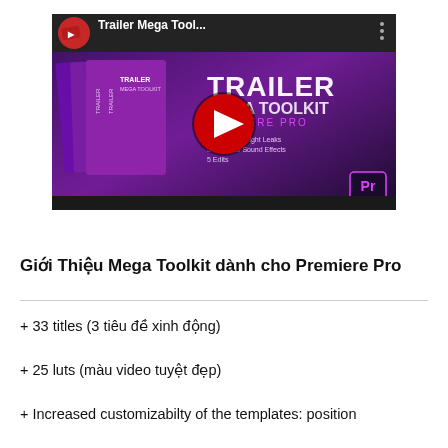[Figure (screenshot): YouTube video thumbnail for 'Trailer Mega Tool...' showing a dark purple promotional image for Trailer Mega Toolkit for Premiere Pro with stacked box product graphics, text listing 50 CUTs, 5 Dusts, 5 Edits, 50 Light Leaks, 20 Sound Effects, and an Adobe Premiere Pro logo. Red YouTube play button overlay in center. Three dots menu icon top right.]
Giới Thiệu Mega Toolkit dành cho Premiere Pro
+ 33 titles (3 tiêu đề xinh động)
+ 25 luts (màu video tuyệt đẹp)
+ Increased customizabilty of the templates: position